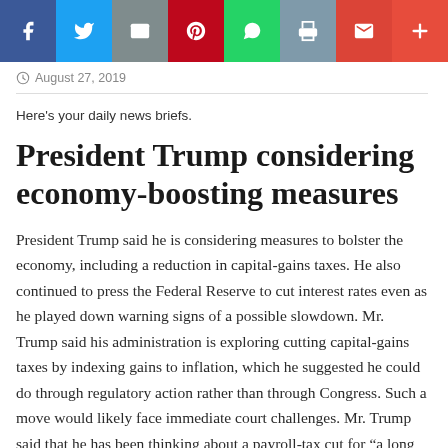[Figure (infographic): Social media share bar with buttons for Facebook, Twitter, Email, Pinterest, WhatsApp, Print, Gmail, and More]
August 27, 2019
Here's your daily news briefs.
President Trump considering economy-boosting measures
President Trump said he is considering measures to bolster the economy, including a reduction in capital-gains taxes. He also continued to press the Federal Reserve to cut interest rates even as he played down warning signs of a possible slowdown. Mr. Trump said his administration is exploring cutting capital-gains taxes by indexing gains to inflation, which he suggested he could do through regulatory action rather than through Congress. Such a move would likely face immediate court challenges. Mr. Trump said that he has been thinking about a payroll-tax cut for “a long